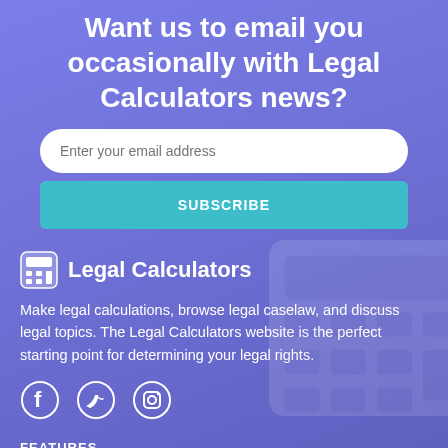Want us to email you occasionally with Legal Calculators news?
[Figure (screenshot): Email subscription input field with placeholder text 'Enter your email address']
[Figure (screenshot): SUBSCRIBE button in teal color]
Legal Calculators
Make legal calculations, browse legal caselaw, and discuss legal topics. The Legal Calculators website is the perfect starting point for determining your legal rights.
[Figure (infographic): Social media icons: Facebook, Twitter, Instagram]
FEATURES